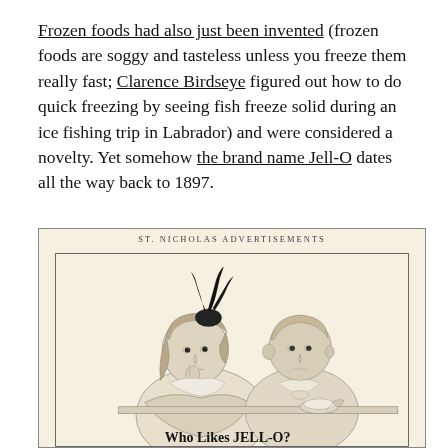Frozen foods had also just been invented (frozen foods are soggy and tasteless unless you freeze them really fast; Clarence Birdseye figured out how to do quick freezing by seeing fish freeze solid during an ice fishing trip in Labrador) and were considered a novelty. Yet somehow the brand name Jell-O dates all the way back to 1897.
[Figure (illustration): Vintage St. Nicholas Advertisements page showing a Jell-O advertisement. The ad features an illustration of two children (a girl with a feathered hat and a boy) sitting at a table, with the text 'Who Likes JELL-O?' at the bottom.]